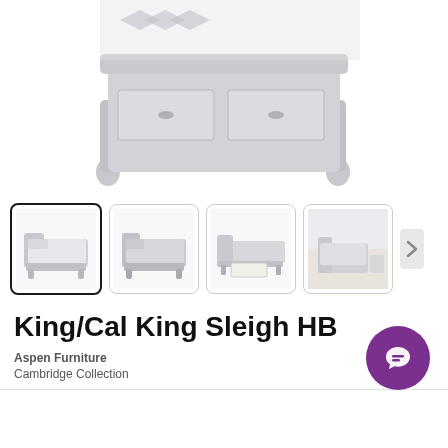[Figure (photo): Partial view of a gray/white sleigh bed showing the footboard with storage drawer and turned legs against a white background]
[Figure (photo): Thumbnail 1 (selected): Full view of King/Cal King Sleigh bed in light gray with bedding, angled view]
[Figure (photo): Thumbnail 2: Similar bed from a different angle with gray bedding]
[Figure (photo): Thumbnail 3: Bed frame with storage drawer open, no bedding, showing drawer details]
[Figure (photo): Thumbnail 4: Room scene with the bed styled in a bedroom setting]
King/Cal King Sleigh HB
Aspen Furniture
Cambridge Collection